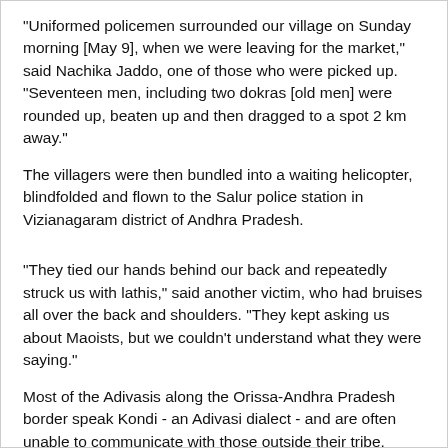"Uniformed policemen surrounded our village on Sunday morning [May 9], when we were leaving for the market," said Nachika Jaddo, one of those who were picked up. "Seventeen men, including two dokras [old men] were rounded up, beaten up and then dragged to a spot 2 km away."
The villagers were then bundled into a waiting helicopter, blindfolded and flown to the Salur police station in Vizianagaram district of Andhra Pradesh.
"They tied our hands behind our back and repeatedly struck us with lathis," said another victim, who had bruises all over the back and shoulders. "They kept asking us about Maoists, but we couldn't understand what they were saying."
Most of the Adivasis along the Orissa-Andhra Pradesh border speak Kondi - an Adivasi dialect - and are often unable to communicate with those outside their tribe. "They spoke to us in Hindi, Oriya and Telugu, and when we couldn't answer, they hit us all over, including on the soles of our feet," said a third victim.
In all, The Hindu interviewed four of the 17 victims, including 60-year-old Nachika Chushai, with the help of a translator.